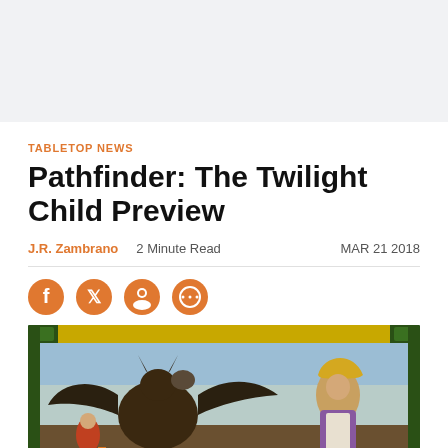TABLETOP NEWS
Pathfinder: The Twilight Child Preview
J.R. Zambrano   2 Minute Read   MAR 21 2018
[Figure (illustration): Fantasy illustration showing characters with a dragon/bat creature on the left and a cloaked woman with a yellow hood on the right, with ornate gold and green border at top. Pathfinder RPG book cover art.]